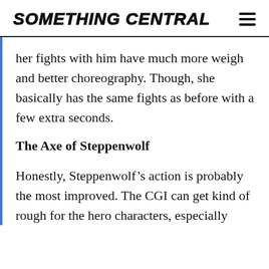SOMETHING CENTRAL
her fights with him have much more weigh and better choreography. Though, she basically has the same fights as before with a few extra seconds.
The Axe of Steppenwolf
Honestly, Steppenwolf’s action is probably the most improved. The CGI can get kind of rough for the hero characters, especially